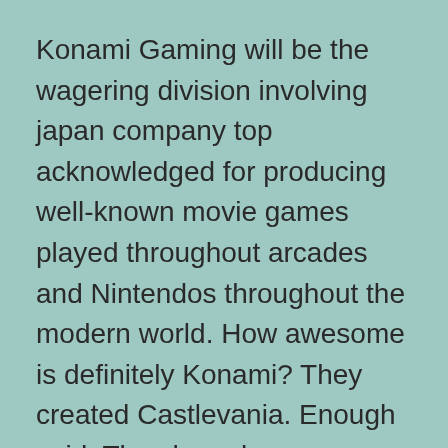Konami Gaming will be the wagering division involving japan company top acknowledged for producing well-known movie games played throughout arcades and Nintendos throughout the modern world. How awesome is definitely Konami? They created Castlevania. Enough said. They have been manufacturing slot machines since 1973, yet have only sent out slots in the United States considering that 2003. Vehicle qualified in Nevada in addition to several tribal areas in America.
Mikohn Gaming is some sort of relative